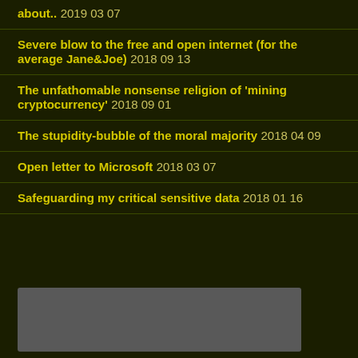about.. 2019 03 07
Severe blow to the free and open internet (for the average Jane&Joe) 2018 09 13
The unfathomable nonsense religion of 'mining cryptocurrency' 2018 09 01
The stupidity-bubble of the moral majority 2018 04 09
Open letter to Microsoft 2018 03 07
Safeguarding my critical sensitive data 2018 01 16
[Figure (other): Gray rectangle block, likely an image placeholder or widget]